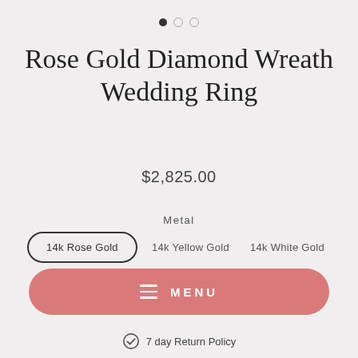[Figure (other): Carousel navigation dots: one filled dark dot and two outlined dots indicating image position 1 of 3]
Rose Gold Diamond Wreath Wedding Ring
$2,825.00
Metal
14k Rose Gold   14k Yellow Gold   14k White Gold
Platinum
MENU
7 day Return Policy